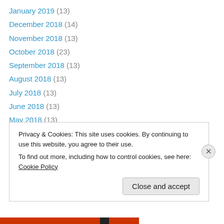January 2019 (13)
December 2018 (14)
November 2018 (13)
October 2018 (23)
September 2018 (13)
August 2018 (13)
July 2018 (13)
June 2018 (13)
May 2018 (13)
April 2018 (30)
March 2018 (14)
February 2018 (12)
January 2018 (13)
Privacy & Cookies: This site uses cookies. By continuing to use this website, you agree to their use. To find out more, including how to control cookies, see here: Cookie Policy
Close and accept